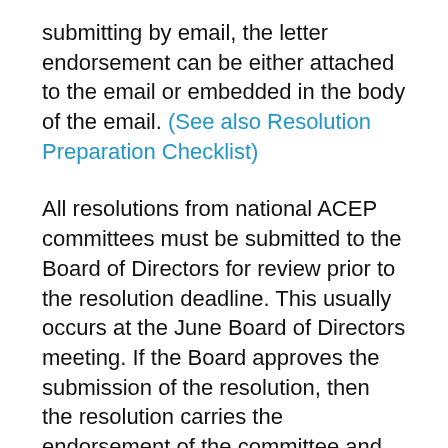submitting by email, the letter endorsement can be either attached to the email or embedded in the body of the email. (See also Resolution Preparation Checklist)
All resolutions from national ACEP committees must be submitted to the Board of Directors for review prior to the resolution deadline. This usually occurs at the June Board of Directors meeting. If the Board approves the submission of the resolution, then the resolution carries the endorsement of the committee and the Board of Directors.
Questions